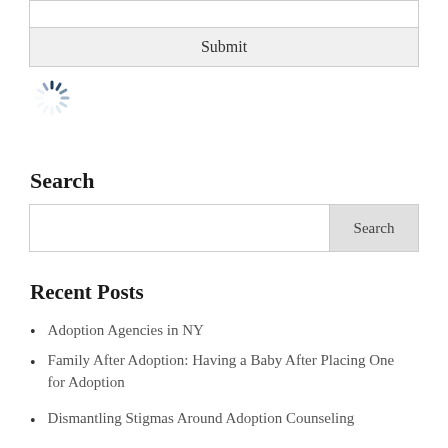[Figure (screenshot): A web form with an empty text input field and a Submit button below it, followed by a loading spinner icon]
Search
[Figure (screenshot): A search bar with an empty text input and a Search button on the right]
Recent Posts
Adoption Agencies in NY
Family After Adoption: Having a Baby After Placing One for Adoption
Dismantling Stigmas Around Adoption Counseling